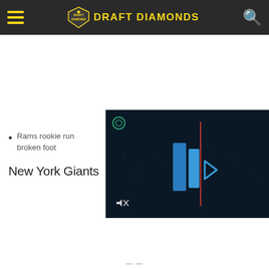DRAFT DIAMONDS
Rams rookie run... broken foot
[Figure (screenshot): Dark blue video player thumbnail showing blue chevron/play button graphics on a dark stadium background, with a muted speaker icon in the lower left and a circular icon in the upper left.]
New York Giants